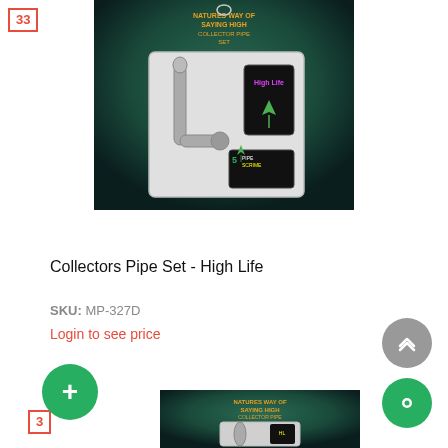33
[Figure (photo): Product photo of Collectors Pipe Set - High Life, showing a metal pipe and lighter set in blister packaging with dark green background and cannabis-themed branding]
Collectors Pipe Set - High Life
SKU: MP-327D
Login to see price
3
[Figure (photo): Partial product photo of another item in similar dark green cannabis-themed packaging at the bottom of the page]